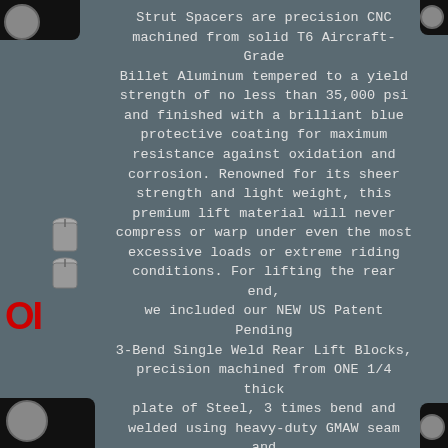Strut Spacers are precision CNC machined from solid T6 Aircraft-Grade Billet Aluminum tempered to a yield strength of no less than 35,000 psi and finished with a brilliant blue protective coating for maximum resistance against oxidation and corrosion. Renowned for its sheer strength and light weight, this premium lift material will never compress or warp under even the most excessive loads or extreme riding conditions. For lifting the rear end, we included our NEW US Patent Pending 3-Bend Single Weld Rear Lift Blocks, precision machined from ONE 1/4 thick plate of Steel, 3 times bend and welded using heavy-duty GMAW seam and fillet welding processes to ensure maximum strength and a lifetime of dependability under even the most extreme riding conditions.
These Blocks are fabricated with Built-In Taper to Optimize Pinion